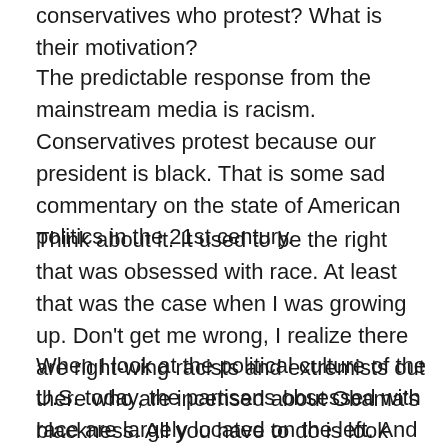conservatives who protest? What is their motivation?
The predictable response from the mainstream media is racism. Conservatives protest because our president is black. That is some sad commentary on the state of American politics in the 21st century.
Think about it. It used to be the right that was obsessed with race. At least that was the case when I was growing up. Don't get me wrong, I realize there are right-wing racists and extremists out there who are incensed about Obama's blackness. All you have to do is look around the Internet. An important thing to keep in mind is radicals are on the margins of mainstream conservatism.
When I look at the political culture of the U.S. today, the partisans obsessed with race are largely located on the left. And I am not only talking about the radical left, the